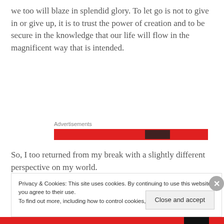we too will blaze in splendid glory. To let go is not to give in or give up, it is to trust the power of creation and to be secure in the knowledge that our life will flow in the magnificent way that is intended.
[Figure (other): Advertisements label above a red banner advertisement with partial image visible]
So, I too returned from my break with a slightly different perspective on my world.
Privacy & Cookies: This site uses cookies. By continuing to use this website, you agree to their use.
To find out more, including how to control cookies, see here: Cookie Policy

Close and accept